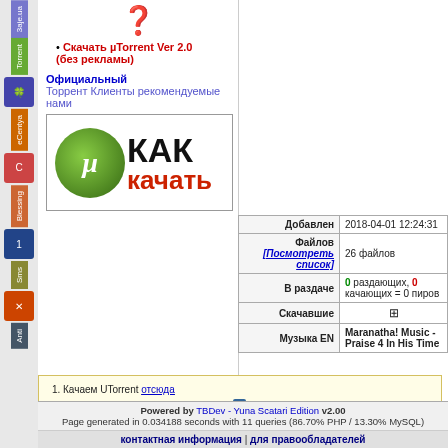[Figure (screenshot): µTorrent logo green circle with µ symbol]
Скачать µTorrent Ver 2.0 (без рекламы)
Официальный Торрент Клиенты рекомендуемые нами
[Figure (logo): µTorrent logo with КАК качать banner]
| Field | Value |
| --- | --- |
| Добавлен | 2018-04-01 12:24:31 |
| Файлов [Посмотреть список] | 26 файлов |
| В раздаче | 0 раздающих, 0 качающих = 0 пиров |
| Скачавшие | [+] |
| Музыка EN | Maranatha! Music - Praise 4 In His Time |
1. Качаем UTorrent отсюда
2. После установки, жмем на ссылку "[µ Ска...]"
3. Сохраняем открывшийся файл.
4. Открываем .torrent файл, выбираем куда скачается ф...
5. Качаем. (подробнее)
Powered by TBDev - Yuna Scatari Edition v2.00
Page generated in 0.034188 seconds with 11 queries (86.70% PHP / 13.30% MySQL)
контактная информация | для правообладателей